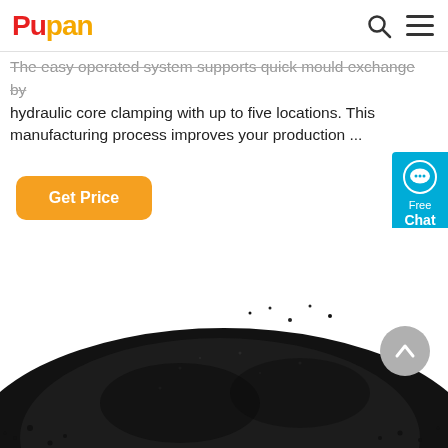Pupan
The easy operated system supports quick mould exchange by hydraulic core clamping with up to five locations. This manufacturing process improves your production ...
Get Price
[Figure (screenshot): Free Chat widget — cyan/teal rounded rectangle button with speech bubble icon, text 'Free Chat']
[Figure (photo): A pile of small black granules or pellets (carbon black or similar material) heaped on a white background, photographed from slightly above]